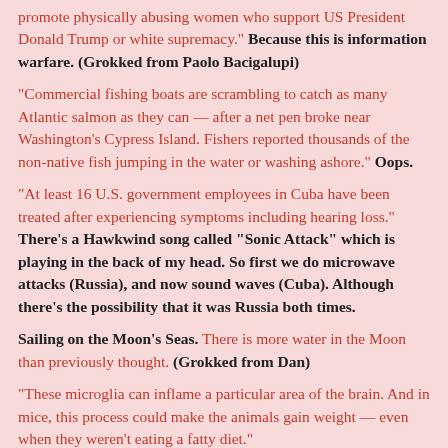promote physically abusing women who support US President Donald Trump or white supremacy." Because this is information warfare. (Grokked from Paolo Bacigalupi)
"Commercial fishing boats are scrambling to catch as many Atlantic salmon as they can — after a net pen broke near Washington's Cypress Island. Fishers reported thousands of the non-native fish jumping in the water or washing ashore." Oops.
"At least 16 U.S. government employees in Cuba have been treated after experiencing symptoms including hearing loss." There's a Hawkwind song called "Sonic Attack" which is playing in the back of my head. So first we do microwave attacks (Russia), and now sound waves (Cuba). Although there's the possibility that it was Russia both times.
Sailing on the Moon's Seas. There is more water in the Moon than previously thought. (Grokked from Dan)
"These microglia can inflame a particular area of the brain. And in mice, this process could make the animals gain weight — even when they weren't eating a fatty diet."